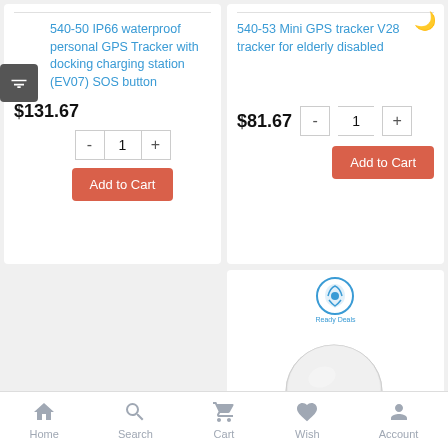540-50 IP66 waterproof personal GPS Tracker with docking charging station (EV07) SOS button
$131.67
540-53 Mini GPS tracker V28 tracker for elderly disabled
$81.67
[Figure (logo): Round blue GPS tracker device with logo and metal clip]
Home  Search  Cart  Wish  Account